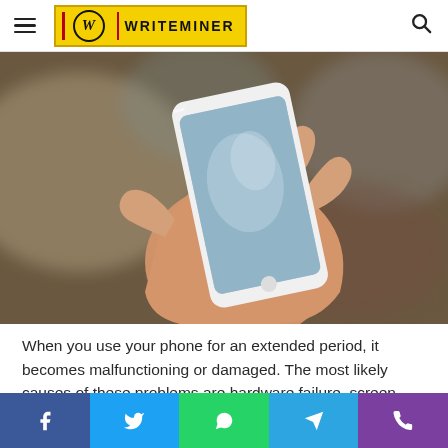WRITEMINER
[Figure (photo): A hand holding a white smartphone with a cracked/damaged screen against a blurred bokeh background]
When you use your phone for an extended period, it becomes malfunctioning or damaged. The most likely causes of these problems are hardware failure, screen damage, or immersion in water. Mobile phone repair has several advantages if you need a replacement for your broken phone.